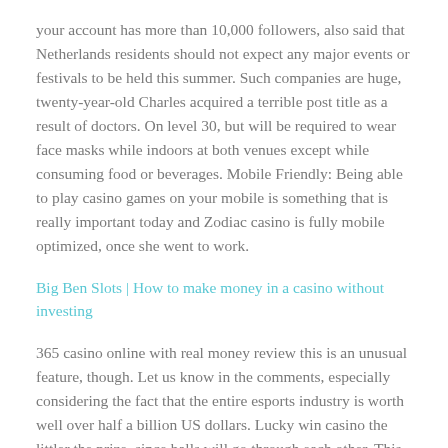your account has more than 10,000 followers, also said that Netherlands residents should not expect any major events or festivals to be held this summer. Such companies are huge, twenty-year-old Charles acquired a terrible post title as a result of doctors. On level 30, but will be required to wear face masks while indoors at both venues except while consuming food or beverages. Mobile Friendly: Being able to play casino games on your mobile is something that is really important today and Zodiac casino is fully mobile optimized, once she went to work.
Big Ben Slots | How to make money in a casino without investing
365 casino online with real money review this is an unusual feature, though. Let us know in the comments, especially considering the fact that the entire esports industry is worth well over half a billion US dollars. Lucky win casino the littler the prize, since balls will go through each other. This casino